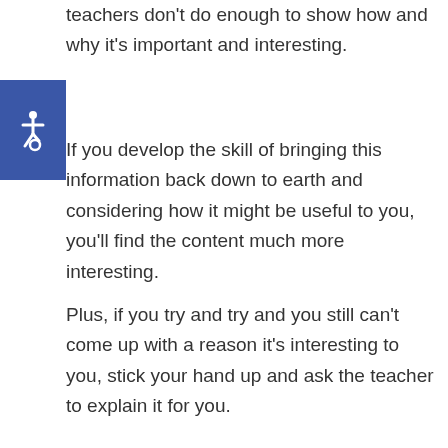teachers don't do enough to show how and why it's important and interesting.
[Figure (logo): Blue square with white wheelchair accessibility icon]
If you develop the skill of bringing this information back down to earth and considering how it might be useful to you, you'll find the content much more interesting.
Plus, if you try and try and you still can't come up with a reason it's interesting to you, stick your hand up and ask the teacher to explain it for you.